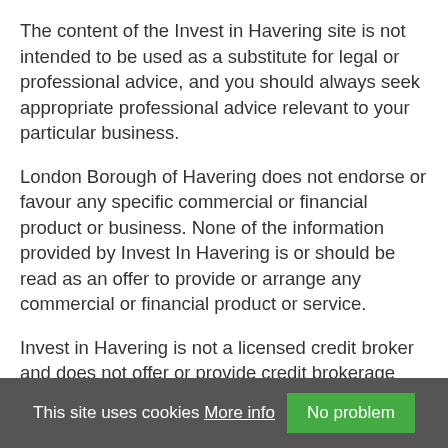The content of the Invest in Havering site is not intended to be used as a substitute for legal or professional advice, and you should always seek appropriate professional advice relevant to your particular business.
London Borough of Havering does not endorse or favour any specific commercial or financial product or business. None of the information provided by Invest In Havering is or should be read as an offer to provide or arrange any commercial or financial product or service.
Invest in Havering is not a licensed credit broker and does not offer or provide credit brokerage services. Please note that where the names of any companies or are mentioned in [case studies or other] information displayed on the website, this is not to be taken as a
This site uses cookies More info No problem